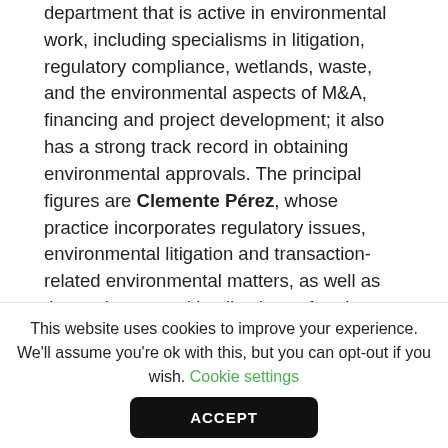department that is active in environmental work, including specialisms in litigation, regulatory compliance, wetlands, waste, and the environmental aspects of M&A, financing and project development; it also has a strong track record in obtaining environmental approvals. The principal figures are Clemente Pérez, whose practice incorporates regulatory issues, environmental litigation and transaction-related environmental matters, as well as the environmental implications of real estate and energy projects; Martín Santa María, who specialises in projects-related environmental assessments, environmental litigation and urban planning; and Sebastián Abogabir – environmental assessments and
This website uses cookies to improve your experience. We'll assume you're ok with this, but you can opt-out if you wish. Cookie settings
ACCEPT